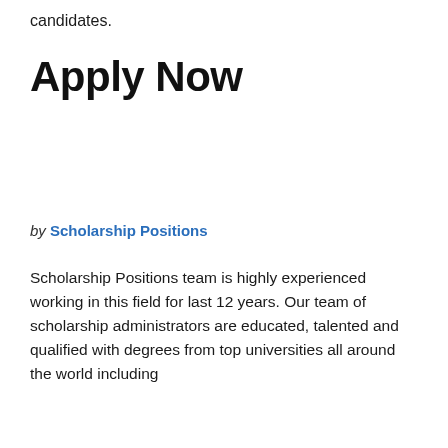candidates.
Apply Now
by Scholarship Positions
Scholarship Positions team is highly experienced working in this field for last 12 years. Our team of scholarship administrators are educated, talented and qualified with degrees from top universities all around the world including